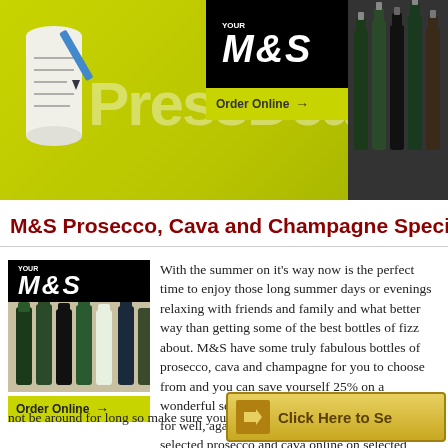[Figure (illustration): Yellow/green banner header with 'Press Deals' text, M&S logo badge, 'Order Online' button, wine bottles on right, and newspaper scroll icon on left]
M&S Prosecco, Cava and Champagne Special Offer
[Figure (logo): M&S 'Your M&S' logo with black background and 'Order Online' green button below, wine bottles image]
With the summer on it's way now is the perfect time to enjoy those long summer days or evenings relaxing with friends and family and what better way than getting some of the best bottles of fizz about. M&S have some truly fabulous bottles of prosecco, cava and champagne for you to choose from and you can save yourself 25% on a wonderful selection. Online shoppers are catered for well, again giving you an amazing 25% off selected prosecco and cava online on selected bottles of wine and champagne cases. These offers are sure to not be around for long so make sure you click the link below today to
Click Here to Se